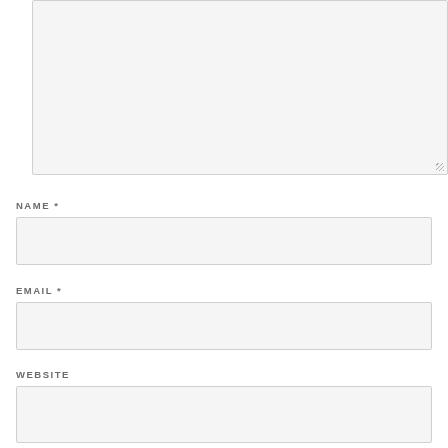[Figure (other): Large textarea input box with resize handle at bottom-right]
NAME *
[Figure (other): Name text input field]
EMAIL *
[Figure (other): Email text input field]
WEBSITE
[Figure (other): Website text input field]